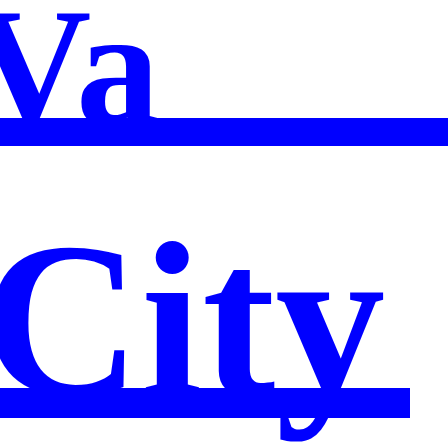[Figure (logo): Partial view of a government city logo/wordmark in bold blue serif font on white background, showing partial text 'Va' at top with a blue horizontal bar beneath it, and 'City' text below with another blue horizontal bar at the bottom. The text is cropped at the edges suggesting a larger logo.]